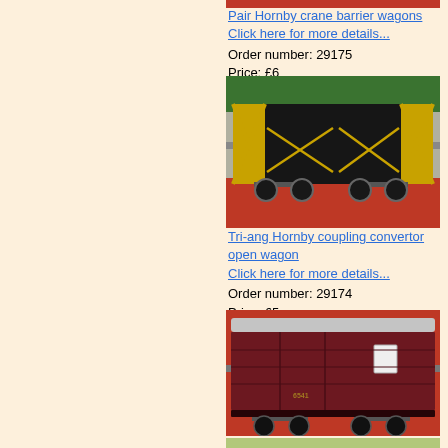[Figure (photo): Top portion of red crane barrier wagons (cropped) — Hornby model train wagons]
Pair Hornby crane barrier wagons
Click here for more details...
Order number: 29175
Price: £6
[Figure (photo): Tri-ang Hornby black open wagon with yellow end struts, coupling convertor open wagon model on red/green base]
Tri-ang Hornby coupling convertor open wagon
Click here for more details...
Order number: 29174
Price: £5
[Figure (photo): Tri-ang Hornby maroon horse box with grey roof, model train wagon on red base]
Tri-ang Hornby horse box, grey roof
Click here for more details...
Order number: 29171
Price: £5
[Figure (photo): Partial view of Shell tank wagon (bottom of page, cropped) — cream/green with red SHELL lettering]